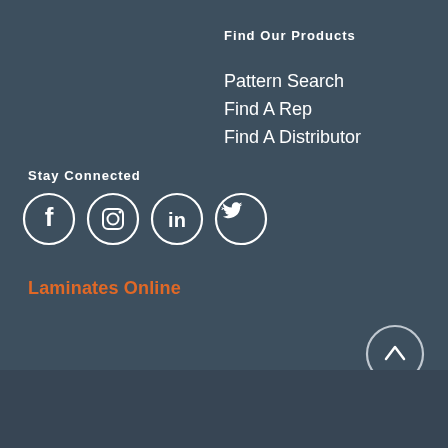Find Our Products
Pattern Search
Find A Rep
Find A Distributor
Stay Connected
[Figure (infographic): Four social media icons in circles: Facebook, Instagram, LinkedIn, Twitter]
Laminates Online
[Figure (other): Scroll-to-top button with upward arrow in a circle]
© 2022 Panolam Industries International, Inc.
Privacy